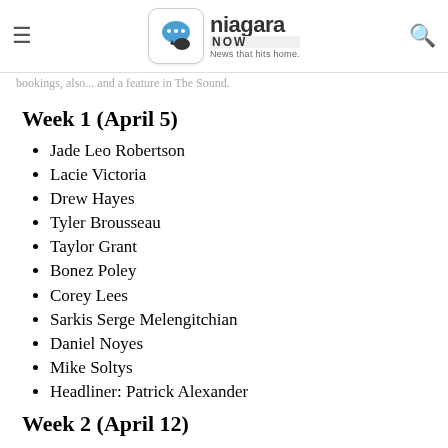Niagara NOW — News that hits home.
bookings, also... and a feature in The Sound.
Week 1 (April 5)
Jade Leo Robertson
Lacie Victoria
Drew Hayes
Tyler Brousseau
Taylor Grant
Bonez Poley
Corey Lees
Sarkis Serge Melengitchian
Daniel Noyes
Mike Soltys
Headliner: Patrick Alexander
Week 2 (April 12)
Matt Boutros